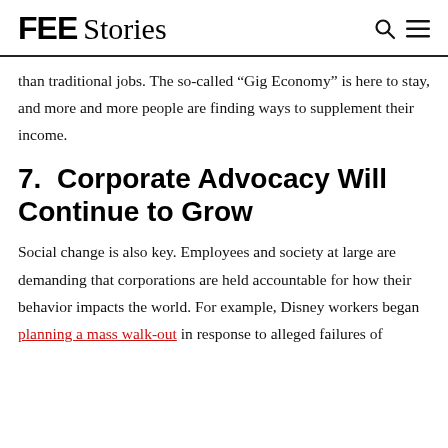FEE Stories
than traditional jobs. The so-called “Gig Economy” is here to stay, and more and more people are finding ways to supplement their income.
7.  Corporate Advocacy Will Continue to Grow
Social change is also key. Employees and society at large are demanding that corporations are held accountable for how their behavior impacts the world. For example, Disney workers began planning a mass walk-out in response to alleged failures of